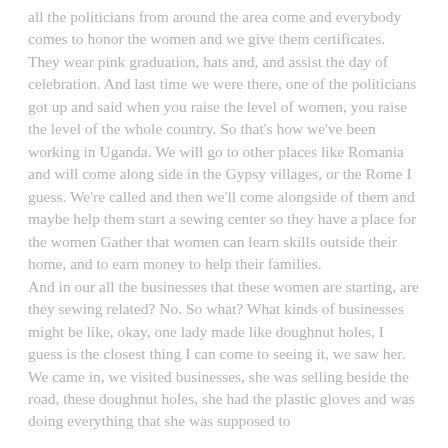all the politicians from around the area come and everybody comes to honor the women and we give them certificates. They wear pink graduation, hats and, and assist the day of celebration. And last time we were there, one of the politicians got up and said when you raise the level of women, you raise the level of the whole country. So that's how we've been working in Uganda. We will go to other places like Romania and will come along side in the Gypsy villages, or the Rome I guess. We're called and then we'll come alongside of them and maybe help them start a sewing center so they have a place for the women Gather that women can learn skills outside their home, and to earn money to help their families.
And in our all the businesses that these women are starting, are they sewing related? No. So what? What kinds of businesses might be like, okay, one lady made like doughnut holes, I guess is the closest thing I can come to seeing it, we saw her. We came in, we visited businesses, she was selling beside the road, these doughnut holes, she had the plastic gloves and was doing everything that she was supposed to do. It was like comparing those kinds of businesses and those kinds of